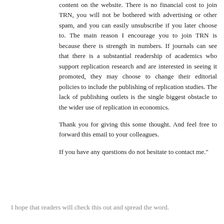content on the website. There is no financial cost to join TRN, you will not be bothered with advertising or other spam, and you can easily unsubscribe if you later choose to. The main reason I encourage you to join TRN is because there is strength in numbers. If journals can see that there is a substantial readership of academics who support replication research and are interested in seeing it promoted, they may choose to change their editorial policies to include the publishing of replication studies. The lack of publishing outlets is the single biggest obstacle to the wider use of replication in economics.

Thank you for giving this some thought. And feel free to forward this email to your colleagues.

If you have any questions do not hesitate to contact me."
I hope that readers will check this out and spread the word.